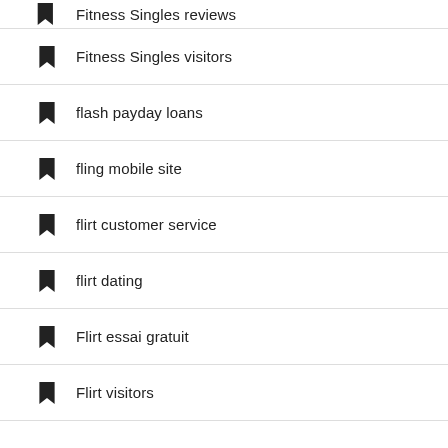Fitness Singles reviews
Fitness Singles visitors
flash payday loans
fling mobile site
flirt customer service
flirt dating
Flirt essai gratuit
Flirt visitors